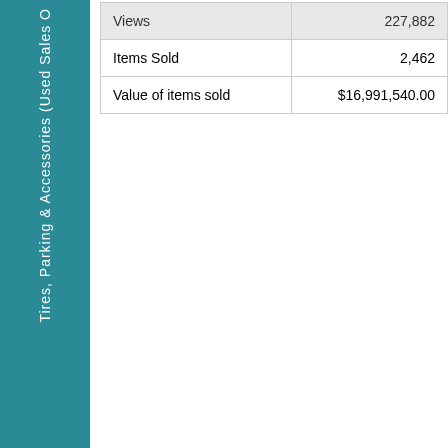Tires, Parking & Accessories (Used Sales O...
|  |  |
| --- | --- |
| Views | 227,882 |
| Items Sold | 2,462 |
| Value of items sold | $16,991,540.00 |